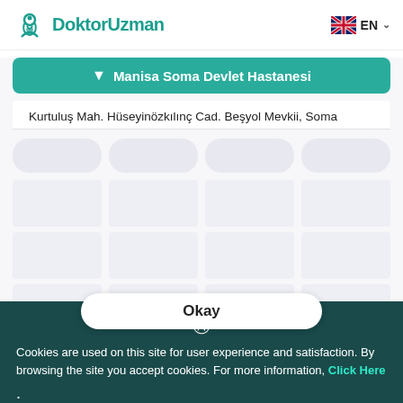DoktorUzman | EN
Manisa Soma Devlet Hastanesi
Kurtuluş Mah. Hüseyinözkılınç Cad. Beşyol Mevkii, Soma
[Figure (screenshot): Loading skeleton grid with pill-shaped and rectangle placeholder elements in light purple/grey colors]
Cookies are used on this site for user experience and satisfaction. By browsing the site you accept cookies. For more information, Click Here
Okay
Health Guide | Institutions | Polyclinics | Doctors